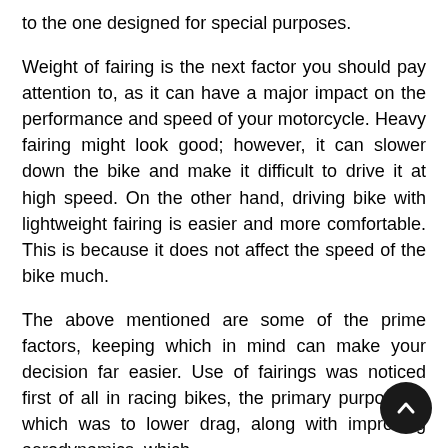to the one designed for special purposes.
Weight of fairing is the next factor you should pay attention to, as it can have a major impact on the performance and speed of your motorcycle. Heavy fairing might look good; however, it can slower down the bike and make it difficult to drive it at high speed. On the other hand, driving bike with lightweight fairing is easier and more comfortable. This is because it does not affect the speed of the bike much.
The above mentioned are some of the prime factors, keeping which in mind can make your decision far easier. Use of fairings was noticed first of all in racing bikes, the primary purpose of which was to lower drag, along with improving aerodynamics, which